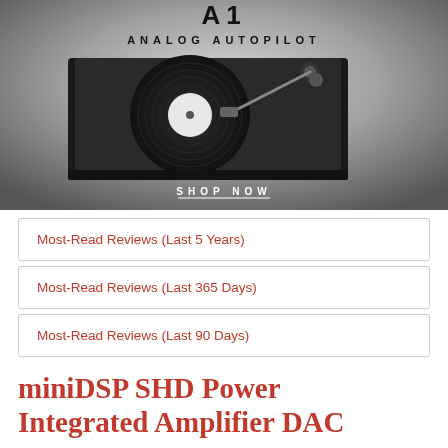[Figure (photo): Advertisement for a turntable product labeled 'A1 ANALOG AUTOPILOT' with a black turntable on a gray gradient background and a 'SHOP NOW' call to action button.]
Most-Read Reviews (Last 5 Years)
Most-Read Reviews (Last 365 Days)
Most-Read Reviews (Last 90 Days)
miniDSP SHD Power Integrated Amplifier DAC